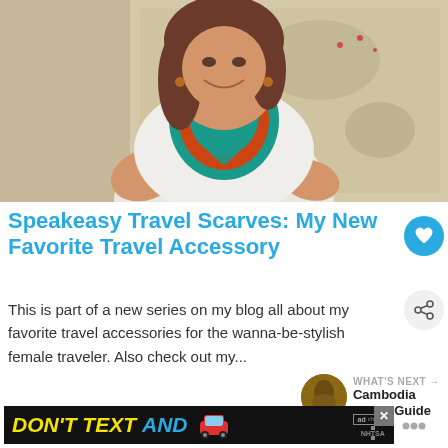[Figure (photo): Young woman smiling, wearing a white top and a colorful teal/orange patterned infinity scarf, standing in front of a world map on the wall]
Speakeasy Travel Scarves: My New Favorite Travel Accessory
This is part of a new series on my blog all about my favorite travel accessories for the wanna-be-stylish female traveler. Also check out my...
[Figure (other): WHAT'S NEXT arrow label with thumbnail image and text 'Cambodia Travel Guide']
[Figure (other): Advertisement banner: DON'T TEXT AND [car emoji] - NHTSA ad with close button and ad badge]